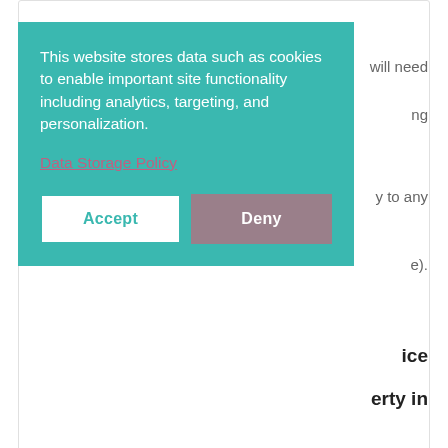will need
ng
y to any
e).
[Figure (screenshot): Cookie consent banner overlay with teal background. Text reads: 'This website stores data such as cookies to enable important site functionality including analytics, targeting, and personalization.' Link: 'Data Storage Policy'. Two buttons: 'Accept' (white) and 'Deny' (muted purple).]
ice
erty in
[This is an absolutely crucial point that will give you complete peace of mind and...
Continue Reading...
The unsung hero – your